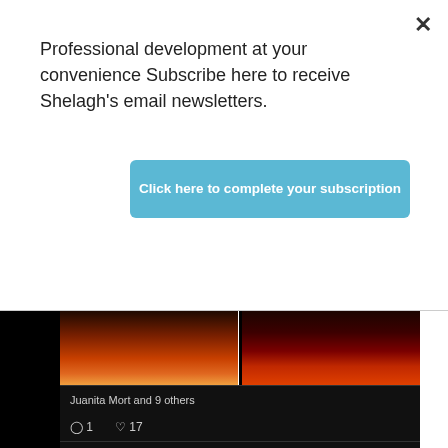Professional development at your convenience Subscribe here to receive Shelagh's email newsletters.
Click here to complete your subscription
[Figure (screenshot): A 2x2 grid of sunset/sunrise photos with orange and red skies, mountains silhouetted, and a bright sun]
Juanita Mort and 9 others
◯ 1   ♡ 17
Shelagh D... @... · Aug 12
Weekend Poll: Onboarding New Colleagues in '22